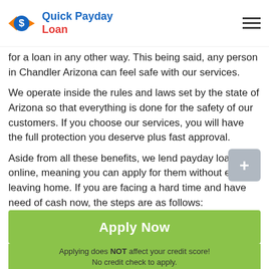Quick Payday Loan
for a loan in any other way. This being said, any person in Chandler Arizona can feel safe with our services.
We operate inside the rules and laws set by the state of Arizona so that everything is done for the safety of our customers. If you choose our services, you will have the full protection you deserve plus fast approval.
Aside from all these benefits, we lend payday loans online, meaning you can apply for them without even leaving home. If you are facing a hard time and have need of cash now, the steps are as follows:
1. Fill out an online application form, which takes around four minutes.
2. Approval is very quick, you should have to wait for about two minutes.
3. Sign the documents of the loan.
[Figure (other): Apply Now button with green background and subtext: Applying does NOT affect your credit score! No credit check to apply.]